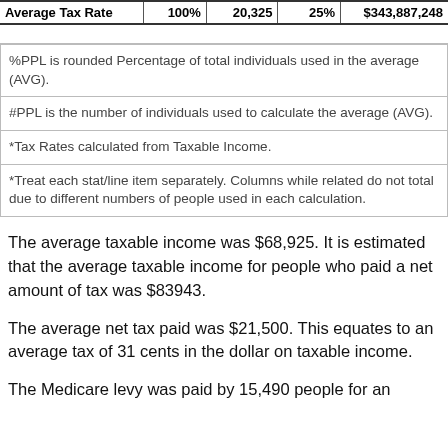| Average Tax Rate | 100% | 20,325 | 25% | $343,887,248 |
| --- | --- | --- | --- | --- |
%PPL is rounded Percentage of total individuals used in the average (AVG).
#PPL is the number of individuals used to calculate the average (AVG).
*Tax Rates calculated from Taxable Income.
*Treat each stat/line item separately. Columns while related do not total due to different numbers of people used in each calculation.
The average taxable income was $68,925. It is estimated that the average taxable income for people who paid a net amount of tax was $83943.
The average net tax paid was $21,500. This equates to an average tax of 31 cents in the dollar on taxable income.
The Medicare levy was paid by 15,490 people for an